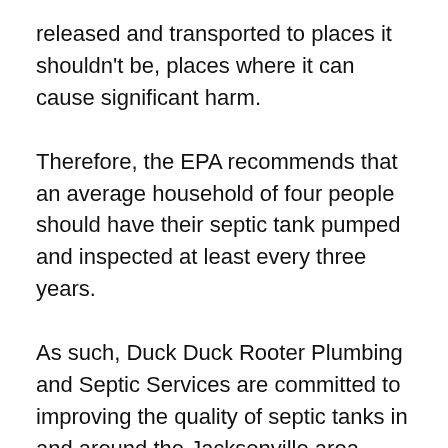released and transported to places it shouldn't be, places where it can cause significant harm.
Therefore, the EPA recommends that an average household of four people should have their septic tank pumped and inspected at least every three years.
As such, Duck Duck Rooter Plumbing and Septic Services are committed to improving the quality of septic tanks in and around the Jacksonville area, including in Callahan, Green Cove Springs and Yulee, St. John and St. Augustine.